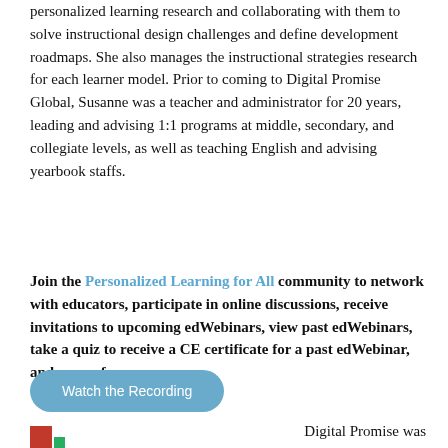personalized learning research and collaborating with them to solve instructional design challenges and define development roadmaps. She also manages the instructional strategies research for each learner model. Prior to coming to Digital Promise Global, Susanne was a teacher and administrator for 20 years, leading and advising 1:1 programs at middle, secondary, and collegiate levels, as well as teaching English and advising yearbook staffs.
Join the Personalized Learning for All community to network with educators, participate in online discussions, receive invitations to upcoming edWebinars, view past edWebinars, take a quiz to receive a CE certificate for a past edWebinar, and access free resources.
[Figure (other): Blue rounded button labeled 'Watch the Recording']
Digital Promise was